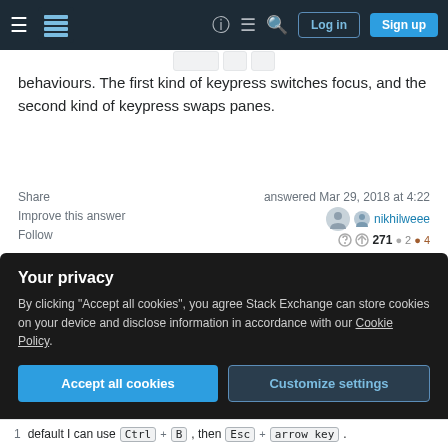Stack Exchange navigation bar with Log in and Sign up buttons
behaviours. The first kind of keypress switches focus, and the second kind of keypress swaps panes.
Share | Improve this answer | Follow | answered Mar 29, 2018 at 4:22 | nikhilweee | 271 ● 2 ● 4
Nice job finding the "works out of the box" example. – Cloud Feb 5, 2019 at 19:58
unfortunately second option won't work with out-of-the-
Your privacy
By clicking "Accept all cookies", you agree Stack Exchange can store cookies on your device and disclose information in accordance with our Cookie Policy.
Accept all cookies | Customize settings
default I can use Ctrl + B , then Esc + arrow key .